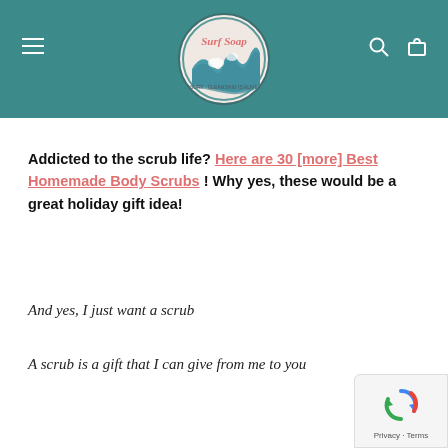Surf Soap – website header with logo, hamburger menu, search and cart icons
Addicted to the scrub life? Here are 30 [more] Best Homemade Body Scrubs ! Why yes, these would be a great holiday gift idea!
And yes, I just want a scrub
A scrub is a gift that I can give from me to you